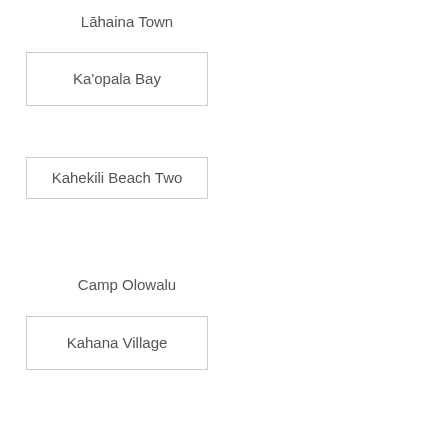Lāhaina Town
Ka'opala Bay
Kahekili Beach Two
Camp Olowalu
Kahana Village
Hanaka'ō'ō Park (Canoe Beach)
Pāpalaua Pali